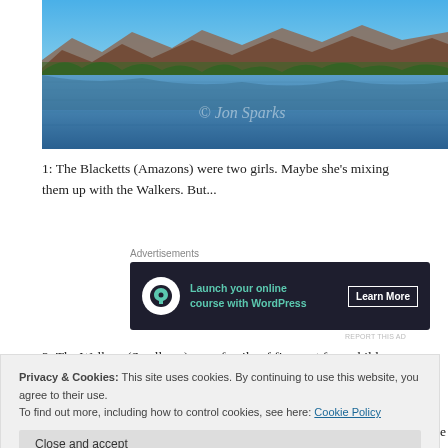[Figure (photo): Landscape photograph of a lake reflecting mountains and trees under a clear blue sky, with watermark '© Jon Sparks']
1: The Blacketts (Amazons) were two girls. Maybe she's mixing them up with the Walkers. But...
Advertisements
[Figure (screenshot): Advertisement: 'Launch your online course with WordPress' with Learn More button on dark background]
REPORT THIS AD
2: The Walkers (Swallows) are a family of five, not four, children. This is a
Privacy & Cookies: This site uses cookies. By continuing to use this website, you agree to their use.
To find out more, including how to control cookies, see here: Cookie Policy
3: "the boy ... is ... the leader with the girls playing ... distinctly submissive